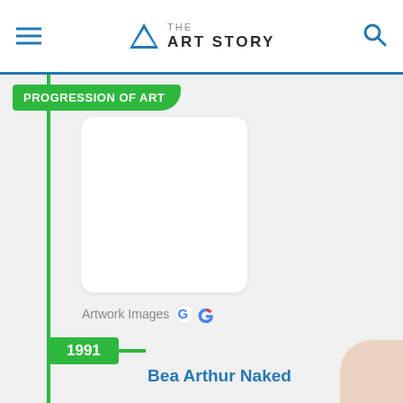THE ART STORY
PROGRESSION OF ART
[Figure (photo): White blank image card placeholder for artwork photo]
Artwork Images G
1991
Bea Arthur Naked
Before achieving his current level of fame, Currin painted this portrait of the popular television actress as part of a series of images focusing on